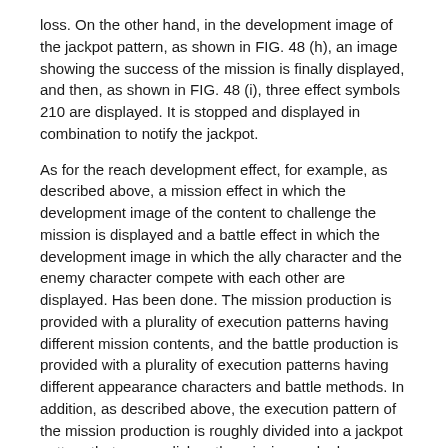loss. On the other hand, in the development image of the jackpot pattern, as shown in FIG. 48 (h), an image showing the success of the mission is finally displayed, and then, as shown in FIG. 48 (i), three effect symbols 210 are displayed. It is stopped and displayed in combination to notify the jackpot.
As for the reach development effect, for example, as described above, a mission effect in which the development image of the content to challenge the mission is displayed and a battle effect in which the development image in which the ally character and the enemy character compete with each other are displayed. Has been done. The mission production is provided with a plurality of execution patterns having different mission contents, and the battle production is provided with a plurality of execution patterns having different appearance characters and battle methods. In addition, as described above, the execution pattern of the mission production is roughly divided into a jackpot pattern that accomplishes the mission and a loss pattern that fails the mission. Similarly, in the execution pattern of the battle production, the ally character is the enemy character. It is roughly